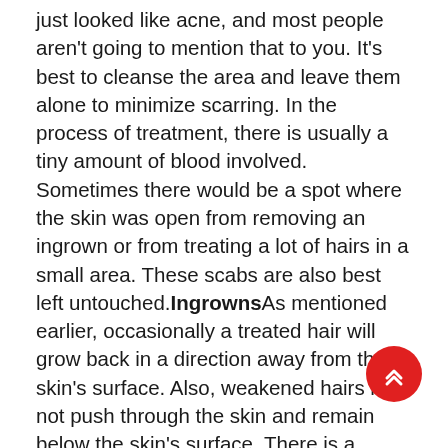just looked like acne, and most people aren't going to mention that to you. It's best to cleanse the area and leave them alone to minimize scarring. In the process of treatment, there is usually a tiny amount of blood involved. Sometimes there would be a spot where the skin was open from removing an ingrown or from treating a lot of hairs in a small area. These scabs are also best left untouched.IngrownsAs mentioned earlier, occasionally a treated hair will grow back in a direction away from the skin's surface. Also, weakened hairs may not push through the skin and remain below the skin's surface. There is a chance an ingrown hair may become infected or cause inflammation. Getting ingrowns out must be done very carefully- trying to “dig them out”can cause scarring. Many electrologists use a sterilized needle to release hairs that can't be gotten out with forceps. However, prevention is your best bet. See the skin care section below for